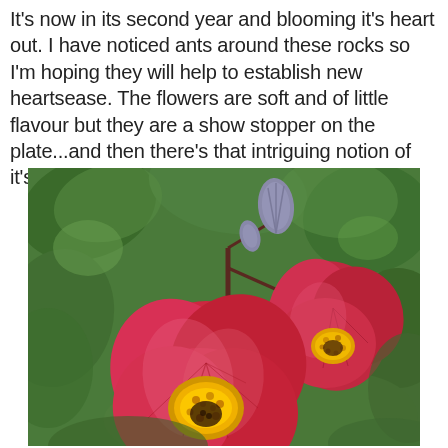It's now in its second year and blooming it's heart out. I have noticed ants around these rocks so I'm hoping they will help to establish new heartsease. The flowers are soft and of little flavour but they are a show stopper on the plate...and then there's that intriguing notion of it's love potion power.
[Figure (photo): Close-up photograph of red/pink blooming flowers with yellow stamens and purple-grey buds, set against green foliage. The flowers appear to be abutilon (flowering maple) blooms with distinctly veined petals.]